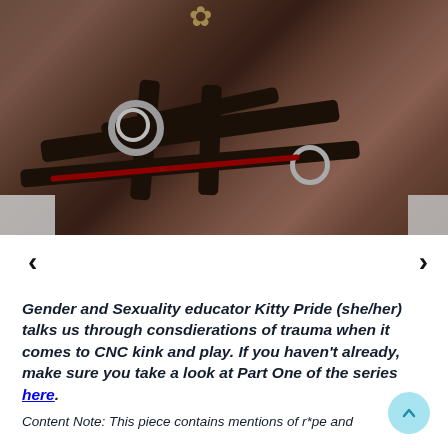[Figure (photo): Close-up photo of a person wearing a black leather harness with metal O-rings and buckles, with a floral accessory visible at the top]
Gender and Sexuality educator Kitty Pride (she/her) talks us through consdierations of trauma when it comes to CNC kink and play. If you haven't already, make sure you take a look at Part One of the series here.
Content Note: This piece contains mentions of r*pe and